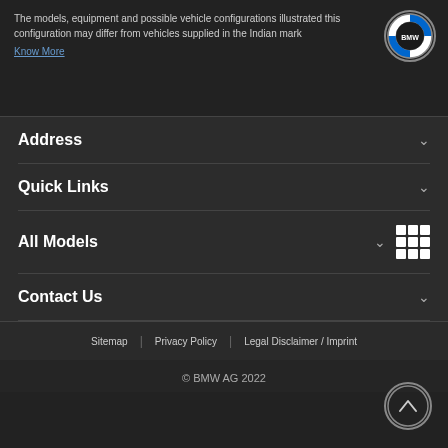The models, equipment and possible vehicle configurations illustrated this configuration may differ from vehicles supplied in the Indian mark
Know More
[Figure (logo): BMW circular logo with blue and white quadrants]
Address
Quick Links
All Models
Contact Us
Sitemap | Privacy Policy | Legal Disclaimer / Imprint
© BMW AG 2022